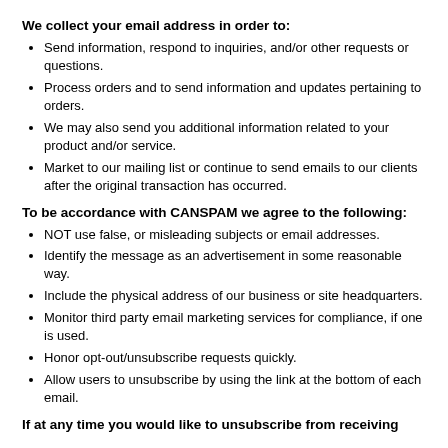We collect your email address in order to:
Send information, respond to inquiries, and/or other requests or questions.
Process orders and to send information and updates pertaining to orders.
We may also send you additional information related to your product and/or service.
Market to our mailing list or continue to send emails to our clients after the original transaction has occurred.
To be accordance with CANSPAM we agree to the following:
NOT use false, or misleading subjects or email addresses.
Identify the message as an advertisement in some reasonable way.
Include the physical address of our business or site headquarters.
Monitor third party email marketing services for compliance, if one is used.
Honor opt-out/unsubscribe requests quickly.
Allow users to unsubscribe by using the link at the bottom of each email.
If at any time you would like to unsubscribe from receiving